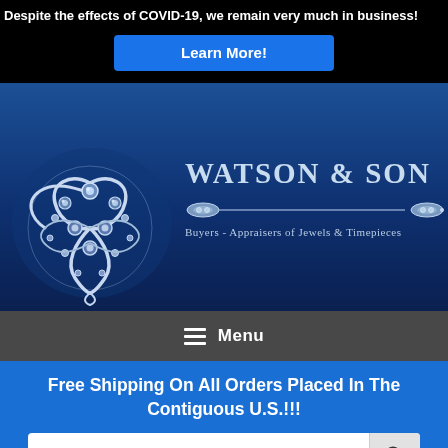Despite the effects of COVID-19, we remain very much in business!
[Figure (illustration): Learn More button - blue rounded rectangle button with white bold text]
[Figure (logo): Watson & Son jewelers logo with decorative brooch/pin jewelry graphic on blue gradient background. Text reads WATSON & SON and Buyers - Appraisers of Jewels & Timepieces]
Menu
Free Shipping On All Orders Placed In The Contiguous U.S.!!!
[Figure (screenshot): Search Our Store... input field with magnifying glass search button]